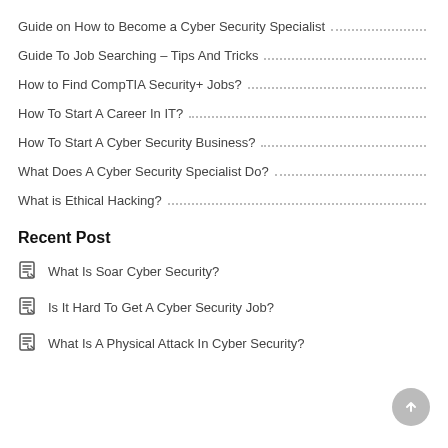Guide on How to Become a Cyber Security Specialist
Guide To Job Searching – Tips And Tricks
How to Find CompTIA Security+ Jobs?
How To Start A Career In IT?
How To Start A Cyber Security Business?
What Does A Cyber Security Specialist Do?
What is Ethical Hacking?
Recent Post
What Is Soar Cyber Security?
Is It Hard To Get A Cyber Security Job?
What Is A Physical Attack In Cyber Security?